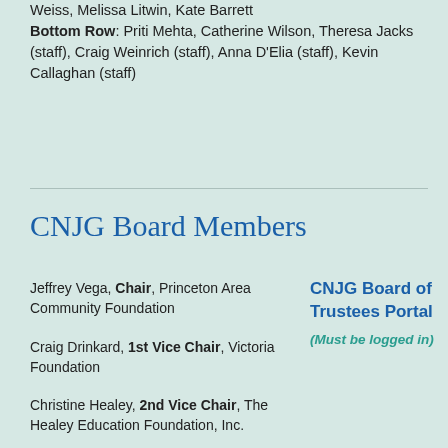Weiss, Melissa Litwin, Kate Barrett
Bottom Row: Priti Mehta, Catherine Wilson, Theresa Jacks (staff), Craig Weinrich (staff), Anna D'Elia (staff), Kevin Callaghan (staff)
CNJG Board Members
Jeffrey Vega, Chair, Princeton Area Community Foundation
CNJG Board of Trustees Portal
(Must be logged in)
Craig Drinkard, 1st Vice Chair, Victoria Foundation
Christine Healey, 2nd Vice Chair, The Healey Education Foundation, Inc.
Maisha Simmons, Secretary, Robert Wood Johnson Foundation